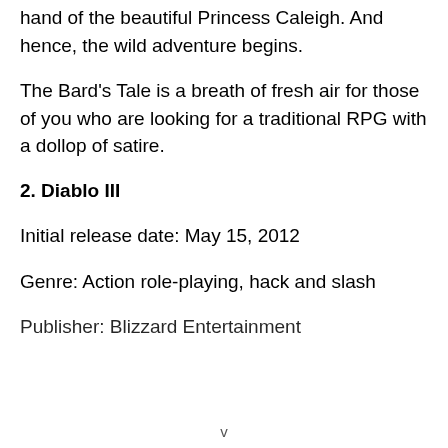hand of the beautiful Princess Caleigh. And hence, the wild adventure begins.
The Bard's Tale is a breath of fresh air for those of you who are looking for a traditional RPG with a dollop of satire.
2. Diablo III
Initial release date: May 15, 2012
Genre: Action role-playing, hack and slash
Publisher: Blizzard Entertainment
v